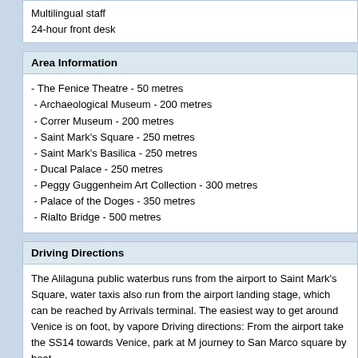Multilingual staff
24-hour front desk
Area Information
- The Fenice Theatre - 50 metres
- Archaeological Museum - 200 metres
- Correr Museum - 200 metres
- Saint Mark's Square - 250 metres
- Saint Mark's Basilica - 250 metres
- Ducal Palace - 250 metres
- Peggy Guggenheim Art Collection - 300 metres
- Palace of the Doges - 350 metres
- Rialto Bridge - 500 metres
Driving Directions
The Alilaguna public waterbus runs from the airport to Saint Mark's Square, water taxis also run from the airport landing stage, which can be reached by Arrivals terminal. The easiest way to get around Venice is on foot, by vapore Driving directions: From the airport take the SS14 towards Venice, park at M journey to San Marco square by boat.
Policies & Disclaimers